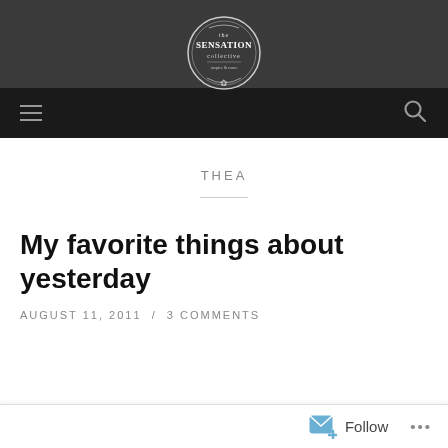[Figure (logo): The Sensation Collective logo — circular ornate badge with text 'the SENSATION collective' and decorative scrollwork, on a dark gray header band]
≡    🔍
THEA
My favorite things about yesterday
AUGUST 11, 2011 / 3 COMMENTS
Follow ...